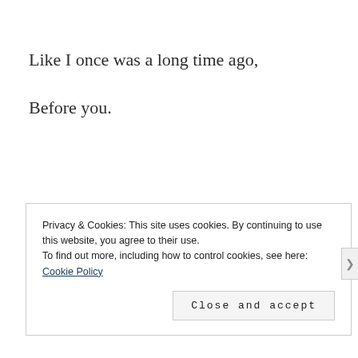Like I once was a long time ago,
Before you.
Privacy & Cookies: This site uses cookies. By continuing to use this website, you agree to their use.
To find out more, including how to control cookies, see here: Cookie Policy
Close and accept